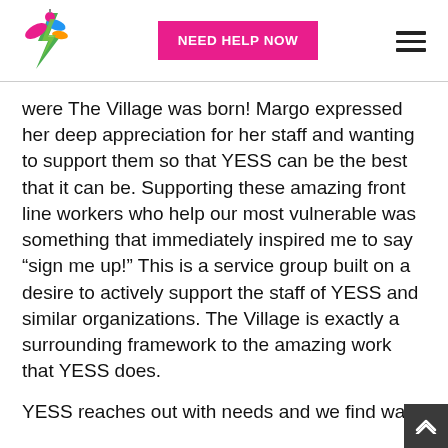[Figure (logo): Colorful hummingbird/lightning bolt logo for YESS organization]
[Figure (other): Pink button labeled NEED HELP NOW]
[Figure (other): Hamburger menu icon (three horizontal lines)]
were The Village was born! Margo expressed her deep appreciation for her staff and wanting to support them so that YESS can be the best that it can be. Supporting these amazing front line workers who help our most vulnerable was something that immediately inspired me to say “sign me up!” This is a service group built on a desire to actively support the staff of YESS and similar organizations. The Village is exactly a surrounding framework to the amazing work that YESS does.
YESS reaches out with needs and we find ways